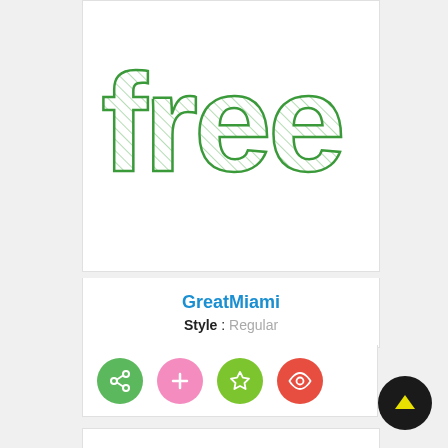[Figure (illustration): Font preview card showing the word 'free' rendered in a large green hatched/sketchy style typeface]
GreatMiami
Style : Regular
[Figure (illustration): Row of four circular action buttons: green share icon, pink plus icon, green star icon, red eye icon]
[Figure (illustration): Font preview card showing the word 'free' rendered in a large outline/hollow style with salmon/pink border]
[Figure (illustration): Black circular button with yellow upward arrow for scrolling to top]